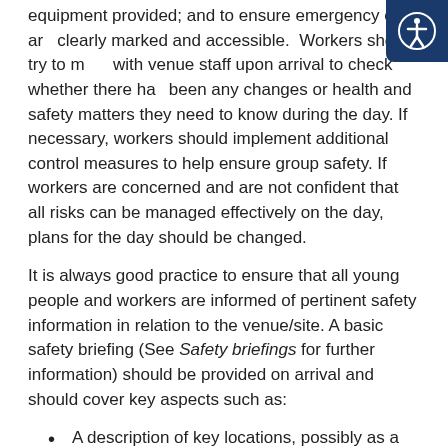equipment provided; and to ensure emergency exits are clearly marked and accessible. Workers should try to meet with venue staff upon arrival to check whether there has been any changes or health and safety matters they need to know during the day. If necessary, workers should implement additional control measures to help ensure group safety. If workers are concerned and are not confident that all risks can be managed effectively on the day, plans for the day should be changed.
It is always good practice to ensure that all young people and workers are informed of pertinent safety information in relation to the venue/site. A basic safety briefing (See Safety briefings for further information) should be provided on arrival and should cover key aspects such as:
A description of key locations, possibly as a tour of the site in more complex locations
Fire safety and evacuation procedures (see below)
First aid points